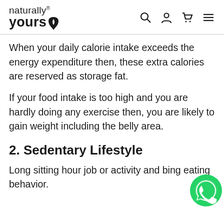naturally yours® [nav icons: search, user, cart, menu]
When your daily calorie intake exceeds the energy expenditure then, these extra calories are reserved as storage fat.
If your food intake is too high and you are hardly doing any exercise then, you are likely to gain weight including the belly area.
2. Sedentary Lifestyle
Long sitting hour job or activity and bing eating behavior.